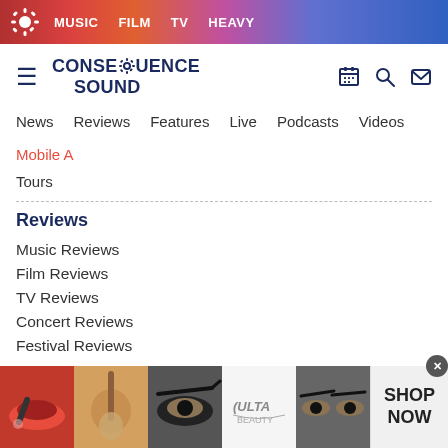MUSIC  FILM  TV  HEAVY
[Figure (logo): Consequence Sound logo with gear icon and site name]
News  Reviews  Features  Live  Podcasts  Videos  Mobile App  Tours
Reviews
Music Reviews
Film Reviews
TV Reviews
Concert Reviews
Festival Reviews
[Figure (photo): Ulta Beauty advertisement banner showing makeup/beauty images with SHOP NOW button]